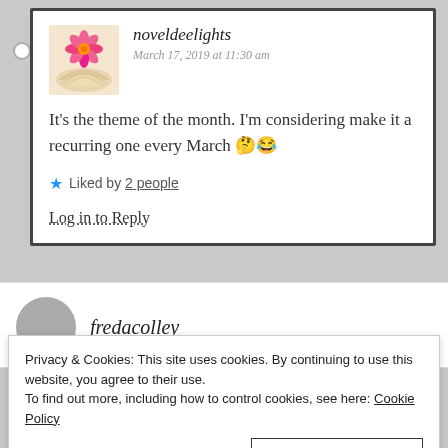noveldeelights
March 17, 2019 at 11:30 am
It's the theme of the month. I'm considering make it a recurring one every March 🤔😂
Liked by 2 people
Log in to Reply
fredacolley
Privacy & Cookies: This site uses cookies. By continuing to use this website, you agree to their use.
To find out more, including how to control cookies, see here: Cookie Policy
Close and accept
Log in to Reply